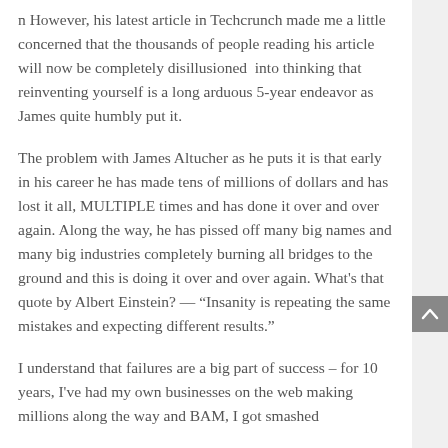n However, his latest article in Techcrunch made me a little concerned that the thousands of people reading his article will now be completely disillusioned  into thinking that reinventing yourself is a long arduous 5-year endeavor as James quite humbly put it.
The problem with James Altucher as he puts it is that early in his career he has made tens of millions of dollars and has lost it all, MULTIPLE times and has done it over and over again. Along the way, he has pissed off many big names and many big industries completely burning all bridges to the ground and this is doing it over and over again. What's that quote by Albert Einstein? — "Insanity is repeating the same mistakes and expecting different results."
I understand that failures are a big part of success – for 10 years, I've had my own businesses on the web making millions along the way and BAM, I got smashed